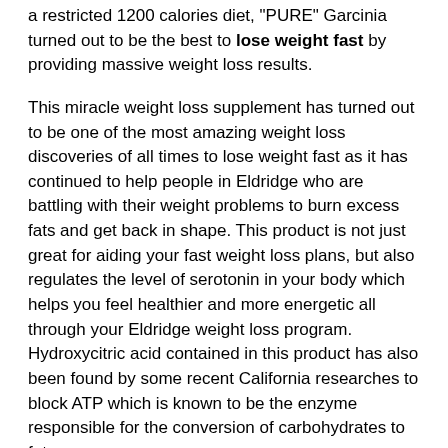a restricted 1200 calories diet, "PURE" Garcinia turned out to be the best to lose weight fast by providing massive weight loss results.
This miracle weight loss supplement has turned out to be one of the most amazing weight loss discoveries of all times to lose weight fast as it has continued to help people in Eldridge who are battling with their weight problems to burn excess fats and get back in shape. This product is not just great for aiding your fast weight loss plans, but also regulates the level of serotonin in your body which helps you feel healthier and more energetic all through your Eldridge weight loss program. Hydroxycitric acid contained in this product has also been found by some recent California researches to block ATP which is known to be the enzyme responsible for the conversion of carbohydrates to fats.
There are very few weight loss products out there today in Eldridge that come with little or no known side effects. "PURE" Garcinia Select is one of such products whose intake is not associated with any negative effects. Taking this weight loss supplement in Eldridge is quite safe because it was extracted from the natural Garcinia fruit without any additives. With Garcinia Cambogia, you are not just guaranteed an